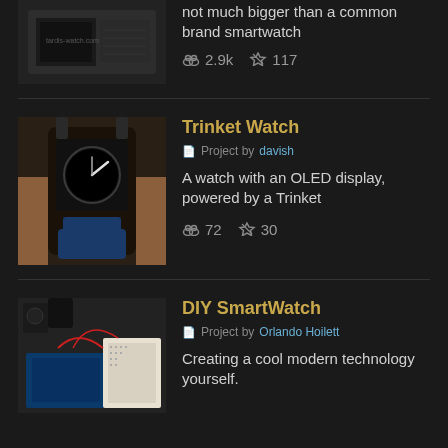[Figure (photo): Photo of a smartwatch PCB/module, partially visible at top of page]
not much bigger than a common brand smartwatch
2.9k  117
[Figure (photo): Photo of a DIY watch with OLED display worn on a wrist, with blue strap]
Trinket Watch
Project by davish
A watch with an OLED display, powered by a Trinket
72  30
[Figure (photo): Photo of a DIY smartwatch project with Arduino board and breadboard with wires]
DIY SmartWatch
Project by Orlando Hoilett
Creating a cool modern technology yourself.